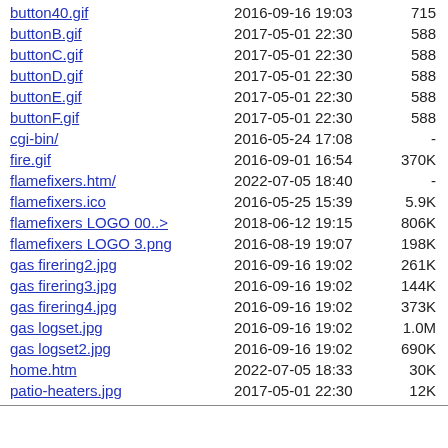| Name | Date | Size |
| --- | --- | --- |
| button40.gif | 2016-09-16 19:03 | 715 |
| buttonB.gif | 2017-05-01 22:30 | 588 |
| buttonC.gif | 2017-05-01 22:30 | 588 |
| buttonD.gif | 2017-05-01 22:30 | 588 |
| buttonE.gif | 2017-05-01 22:30 | 588 |
| buttonF.gif | 2017-05-01 22:30 | 588 |
| cgi-bin/ | 2016-05-24 17:08 | - |
| fire.gif | 2016-09-01 16:54 | 370K |
| flamefixers.htm/ | 2022-07-05 18:40 | - |
| flamefixers.ico | 2016-05-25 15:39 | 5.9K |
| flamefixers LOGO 00..> | 2018-06-12 19:15 | 806K |
| flamefixers LOGO 3.png | 2016-08-19 19:07 | 198K |
| gas firering2.jpg | 2016-09-16 19:02 | 261K |
| gas firering3.jpg | 2016-09-16 19:02 | 144K |
| gas firering4.jpg | 2016-09-16 19:02 | 373K |
| gas logset.jpg | 2016-09-16 19:02 | 1.0M |
| gas logset2.jpg | 2016-09-16 19:02 | 690K |
| home.htm | 2022-07-05 18:33 | 30K |
| patio-heaters.jpg | 2017-05-01 22:30 | 12K |